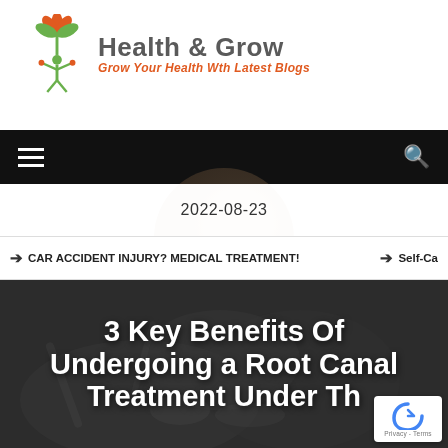[Figure (logo): Health & Grow logo with stylized plant/person icon in orange and green, with text 'Health & Grow' and subtitle 'Grow Your Health Wth Latest Blogs']
[Figure (other): Black navigation bar with hamburger menu icon on left and search icon on right]
2022-08-23
➔ CAR ACCIDENT INJURY? MEDICAL TREATMENT!   ➔ Self-Ca
3 Key Benefits Of Undergoing a Root Canal Treatment Under Th